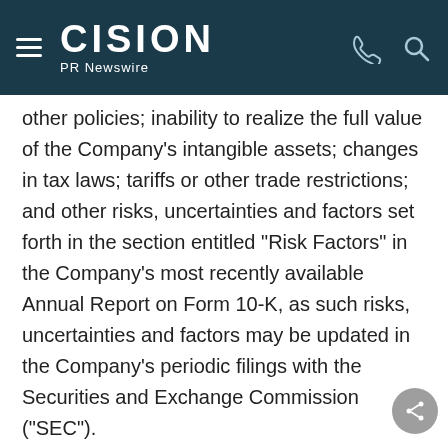CISION PR Newswire
other policies; inability to realize the full value of the Company's intangible assets; changes in tax laws; tariffs or other trade restrictions; and other risks, uncertainties and factors set forth in the section entitled "Risk Factors" in the Company's most recently available Annual Report on Form 10-K, as such risks, uncertainties and factors may be updated in the Company's periodic filings with the Securities and Exchange Commission ("SEC").
Although the Company believes that these statements are based upon reasonable assumptions, it cannot guarantee future results and readers are cautioned not to place undue reliance on these